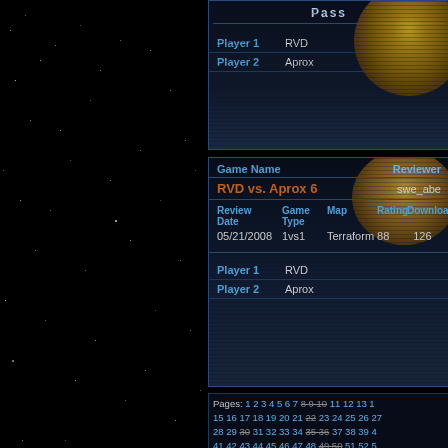[Figure (screenshot): Space-themed game review website screenshot. Left side is a black starfield background. Right side shows two game review panels with planet imagery and a pages navigation panel at the bottom.]
Pass
Player 1   RVD
Player 2   Aprox
| Game Name | Reviewer |
| --- | --- |
| RVD vs. Aprox 6 | swe_abe |
| Review Date | Game Type | Map | Rating | Download |
| --- | --- | --- | --- | --- |
| 05/21/2008 | 1vs1 | Terraform 8 | 8 | 126 |
Player 1   RVD
Player 2   Aprox
Pages: 1 2 3 4 5 6 7 8 9 10 11 12 13 14 15 16 17 18 19 20 21 22 23 24 25 26 27 28 29 30 31 32 33 34 35 36 37 38 39 40 41 42 43 44 45 46 47 48 49 50 51 52 53 54 55 56 57 58 59 60 61 62 63 64 65 66 67 68 69 70 71 72 73 74 75 76 77 78 79 80 81 82 83 84 85 86 87 88 89 90 91 92 93 94 95 96 97 98 99 100 101 102 103 104 105 106 107 108 109 110 111 112 113 114 115 116 117 118 119 120 121 122 123 124 125 126 127